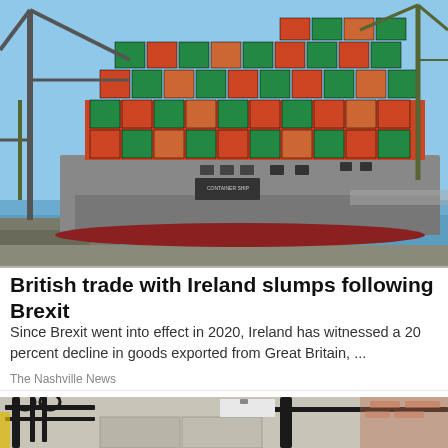[Figure (photo): Large container ship loaded with colorful shipping containers (red, green, orange) docked at a port, with large cranes overhead and water visible in the foreground. Clear blue sky backdrop.]
British trade with Ireland slumps following Brexit
Since Brexit went into effect in 2020, Ireland has witnessed a 20 percent decline in goods exported from Great Britain, ...
The Nashville News
[Figure (photo): Partial view of an outdoor scene with metal railings/fence in the foreground and what appears to be a paved waterfront area. Brick building visible in upper right.]